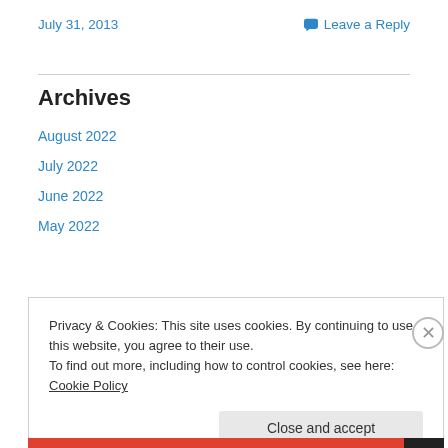July 31, 2013
Leave a Reply
Archives
August 2022
July 2022
June 2022
May 2022
Privacy & Cookies: This site uses cookies. By continuing to use this website, you agree to their use. To find out more, including how to control cookies, see here: Cookie Policy
Close and accept